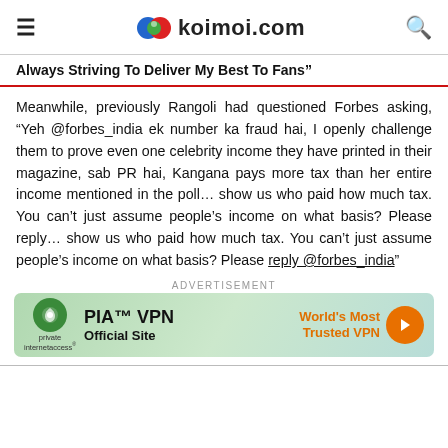koimoi.com
Always Striving To Deliver My Best To Fans”
Meanwhile, previously Rangoli had questioned Forbes asking, “Yeh @forbes_india ek number ka fraud hai, I openly challenge them to prove even one celebrity income they have printed in their magazine, sab PR hai, Kangana pays more tax than her entire income mentioned in the poll… show us who paid how much tax. You can’t just assume people’s income on what basis? Please reply… show us who paid how much tax. You can’t just assume people’s income on what basis? Please reply @forbes_india”
[Figure (infographic): Advertisement banner for PIA VPN - World's Most Trusted VPN with orange arrow button]